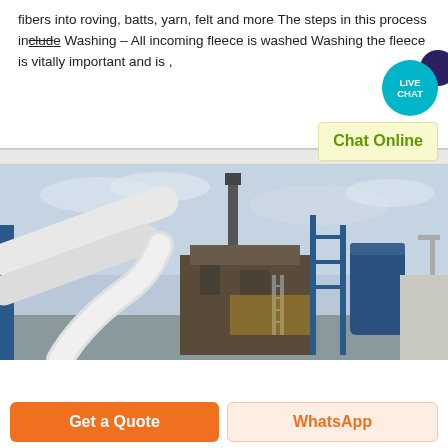fibers into roving, batts, yarn, felt and more The steps in this process include Washing – All incoming fleece is washed Washing the fleece is vitally important and is ,
[Figure (photo): Industrial factory exterior with large white pipes/ducts, blue steel structure, scaffolding, and industrial equipment against a cloudy sky.]
Get a Quote
WhatsApp